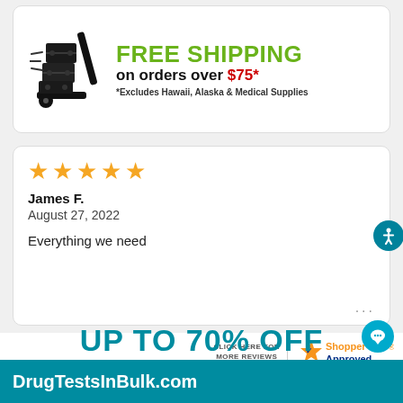[Figure (infographic): Free shipping promotional banner card with a cart icon and text: FREE SHIPPING on orders over $75* *Excludes Hawaii, Alaska & Medical Supplies]
[Figure (infographic): Customer review card with 5 orange stars, reviewer name James F., date August 27 2022, and review text 'Everything we need']
[Figure (logo): Shopper Approved badge with text CLICK HERE FOR MORE REVIEWS]
UP TO 70% OFF
DrugTestsInBulk.com